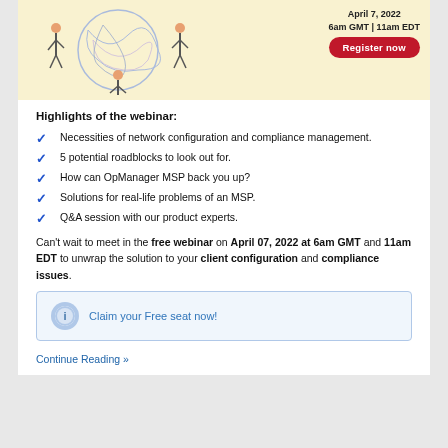[Figure (illustration): Webinar promotional banner with illustrated characters and tangled network lines on a yellow/cream background. Shows date April 7, 2022, 6am GMT | 11am EDT, with a red Register now button on the right.]
Highlights of the webinar:
Necessities of network configuration and compliance management.
5 potential roadblocks to look out for.
How can OpManager MSP back you up?
Solutions for real-life problems of an MSP.
Q&A session with our product experts.
Can't wait to meet in the free webinar on April 07, 2022 at 6am GMT and 11am EDT to unwrap the solution to your client configuration and compliance issues.
Claim your Free seat now!
Continue Reading »